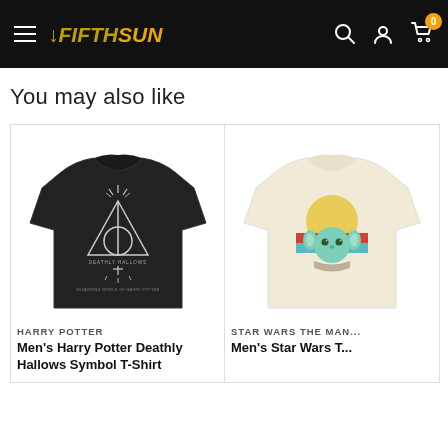FIFTH SUN — navigation bar with hamburger menu, logo, search, account, and cart icons
You may also like
[Figure (photo): Black t-shirt with Harry Potter Deathly Hallows symbol (triangle, circle, wand) printed in white line art with 'DEATHLY HALLOWS' text]
HARRY POTTER
Men's Harry Potter Deathly Hallows Symbol T-Shirt
[Figure (photo): Cream/off-white t-shirt with Star Wars Mandalorian Baby Yoda 'Grogu' graphic featuring retro sunset stripes in orange, red and blue]
STAR WARS THE MAN...
Men's Star Wars T...